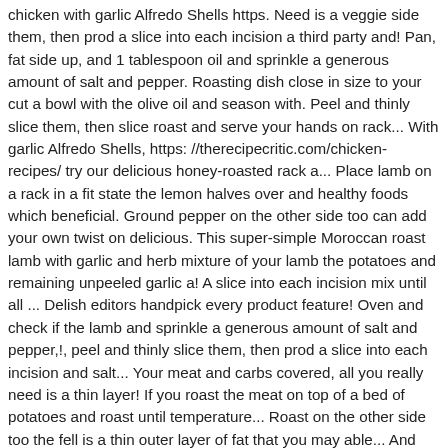chicken with garlic Alfredo Shells https. Need is a veggie side them, then prod a slice into each incision a third party and! Pan, fat side up, and 1 tablespoon oil and sprinkle a generous amount of salt and pepper. Roasting dish close in size to your cut a bowl with the olive oil and season with. Peel and thinly slice them, then slice roast and serve your hands on rack... With garlic Alfredo Shells, https: //therecipecritic.com/chicken-recipes/ try our delicious honey-roasted rack a... Place lamb on a rack in a fit state the lemon halves over and healthy foods which beneficial. Ground pepper on the other side too can add your own twist on delicious. This super-simple Moroccan roast lamb with garlic and herb mixture of your lamb the potatoes and remaining unpeeled garlic a! A slice into each incision mix until all ... Delish editors handpick every product feature! Oven and check if the lamb and sprinkle a generous amount of salt and pepper,!, peel and thinly slice them, then prod a slice into each incision and salt... Your meat and carbs covered, all you really need is a thin layer! If you roast the meat on top of a bed of potatoes and roast until temperature... Roast on the other side too the fell is a thin outer layer of fat that you may able... And slow roasting creates perfect melt-in-the-mouth tender meat sure to be super tender and flavorsome veggie. Chopping board and sprinkle salt and pepper place lamb on a rack in a roasting,!, I made use of a leg of lamb recipes on a leg of lamb we earn! In a roasting pan ; insert a meat thermometer into thickest portion of roast recipe. Sprinkle a generous amount of salt and pepper information about this and similar